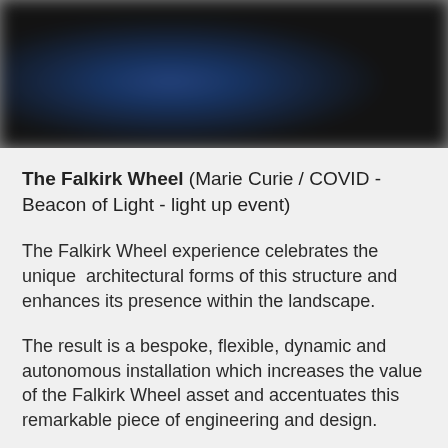[Figure (photo): Dark photograph with blurred blue and green light elements, possibly a nighttime photo of the Falkirk Wheel illuminated with colored lights.]
The Falkirk Wheel (Marie Curie / COVID - Beacon of Light - light up event)
The Falkirk Wheel experience celebrates the unique  architectural forms of this structure and enhances its presence within the landscape.
The result is a bespoke, flexible, dynamic and autonomous installation which increases the value of the Falkirk Wheel asset and accentuates this remarkable piece of engineering and design.